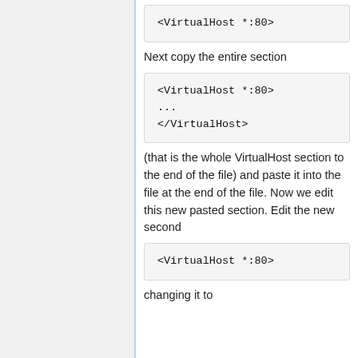<VirtualHost *:80>
Next copy the entire section
<VirtualHost *:80>
...
</VirtualHost>
(that is the whole VirtualHost section to the end of the file) and paste it into the file at the end of the file. Now we edit this new pasted section. Edit the new second
<VirtualHost *:80>
changing it to